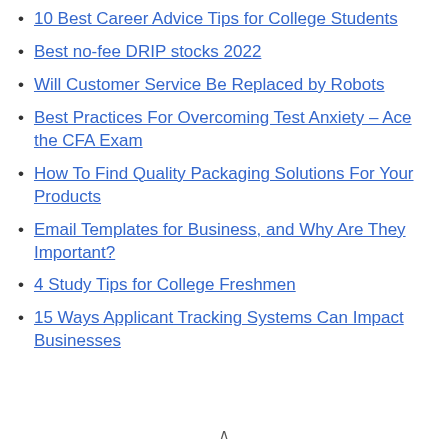10 Best Career Advice Tips for College Students
Best no-fee DRIP stocks 2022
Will Customer Service Be Replaced by Robots
Best Practices For Overcoming Test Anxiety – Ace the CFA Exam
How To Find Quality Packaging Solutions For Your Products
Email Templates for Business, and Why Are They Important?
4 Study Tips for College Freshmen
15 Ways Applicant Tracking Systems Can Impact Businesses